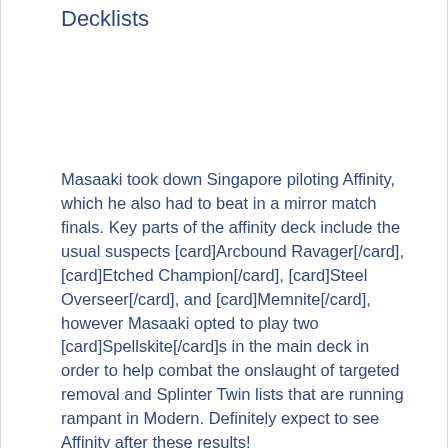Decklists
Masaaki took down Singapore piloting Affinity, which he also had to beat in a mirror match finals. Key parts of the affinity deck include the usual suspects [card]Arcbound Ravager[/card], [card]Etched Champion[/card], [card]Steel Overseer[/card], and [card]Memnite[/card], however Masaaki opted to play two [card]Spellskite[/card]s in the main deck in order to help combat the onslaught of targeted removal and Splinter Twin lists that are running rampant in Modern. Definitely expect to see Affinity after these results!